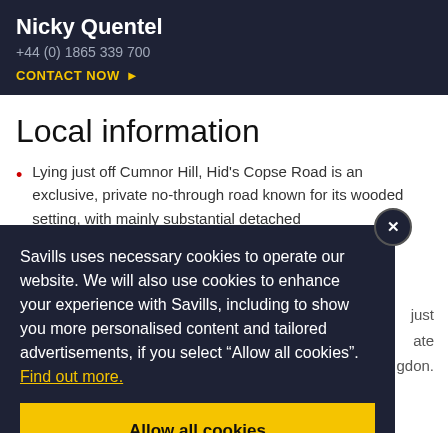Nicky Quentel
+44 (0) 1865 339 700
CONTACT NOW
Local information
Lying just off Cumnor Hill, Hid's Copse Road is an exclusive, private no-through road known for its wooded setting, with mainly substantial detached
Savills uses necessary cookies to operate our website. We will also use cookies to enhance your experience with Savills, including to show you more personalised content and tailored advertisements, if you select “Allow all cookies”. Find out more.
Allow all cookies
(London Paddington from 50 minutes) or Oxford